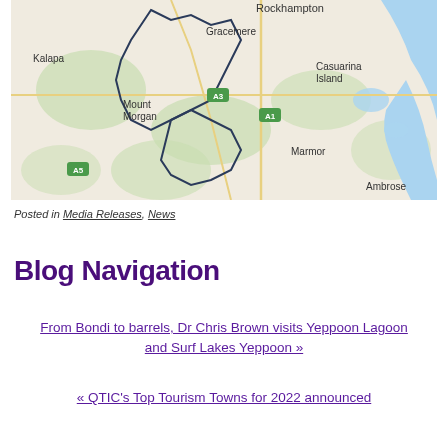[Figure (map): A regional map showing Rockhampton area in Queensland, Australia, including locations: Rockhampton, Gracemere, Kalapa, Mount Morgan, Casuarina Island, Marmor, Ambrose, with road markers A1, A3, A5.]
Posted in Media Releases, News
Blog Navigation
From Bondi to barrels, Dr Chris Brown visits Yeppoon Lagoon and Surf Lakes Yeppoon »
« QTIC's Top Tourism Towns for 2022 announced